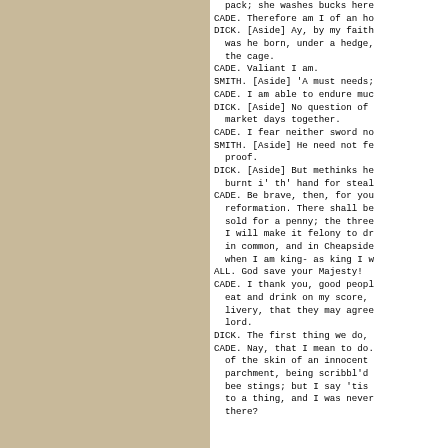pack; she washes bucks here
CADE. Therefore am I of an ho
DICK. [Aside] Ay, by my faith
  was he born, under a hedge,
  the cage.
CADE. Valiant I am.
SMITH. [Aside] 'A must needs;
CADE. I am able to endure muc
DICK. [Aside] No question of
  market days together.
CADE. I fear neither sword no
SMITH. [Aside] He need not fe
  proof.
DICK. [Aside] But methinks he
  burnt i' th' hand for steal
CADE. Be brave, then, for you
  reformation. There shall be
  sold for a penny; the three
  I will make it felony to dr
  in common, and in Cheapside
  when I am king- as king I w
ALL. God save your Majesty!
CADE. I thank you, good peopl
  eat and drink on my score,
  livery, that they may agree
  lord.
DICK. The first thing we do,
CADE. Nay, that I mean to do.
  of the skin of an innocent
  parchment, being scribbl'd
  bee stings; but I say 'tis
  to a thing, and I was never
  there?